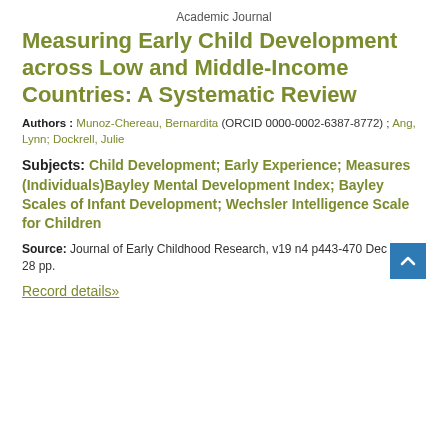Academic Journal
Measuring Early Child Development across Low and Middle-Income Countries: A Systematic Review
Authors : Munoz-Chereau, Bernardita (ORCID 0000-0002-6387-8772) ; Ang, Lynn; Dockrell, Julie
Subjects: Child Development; Early Experience; Measures (Individuals)Bayley Mental Development Index; Bayley Scales of Infant Development; Wechsler Intelligence Scale for Children
Source: Journal of Early Childhood Research, v19 n4 p443-470 Dec 2021. 28 pp.
Record details»